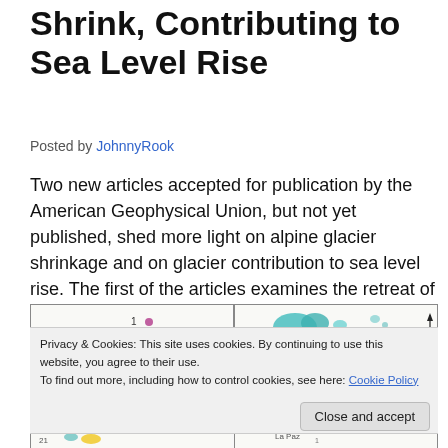Shrink, Contributing to Sea Level Rise
Posted by JohnnyRook
Two new articles accepted for publication by the American Geophysical Union, but not yet published, shed more light on alpine glacier shrinkage and on glacier contribution to sea level rise. The first of the articles examines the retreat of glaciers in Bolivia's Cordillera Real.
[Figure (map): Map showing glacier regions, split into two panels. Left panel shows scattered small glacier outlines with a label '1' and a pink dot. Right panel shows teal/green glacier clusters with a north arrow.]
Privacy & Cookies: This site uses cookies. By continuing to use this website, you agree to their use.
To find out more, including how to control cookies, see here: Cookie Policy
[Figure (map): Bottom map strip showing glacier regions with labels including La Paz and numbered markers.]